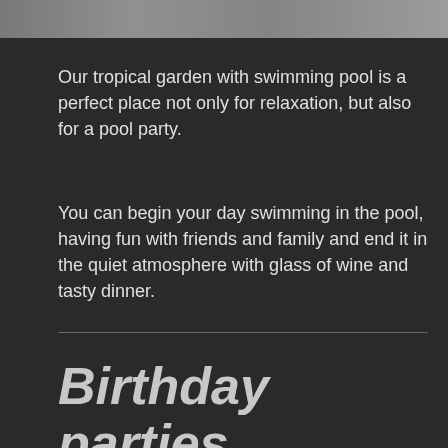[Figure (photo): Partial photo strip at top of page showing a tropical garden or pool area, cropped]
Our tropical garden with swimming pool is a perfect place not only for relaxation, but also for a pool party.
You can begin your day swimming in the pool, having fun with friends and family and end it in the quiet atmosphere with glass of wine and tasty dinner.
Birthday parties for kids